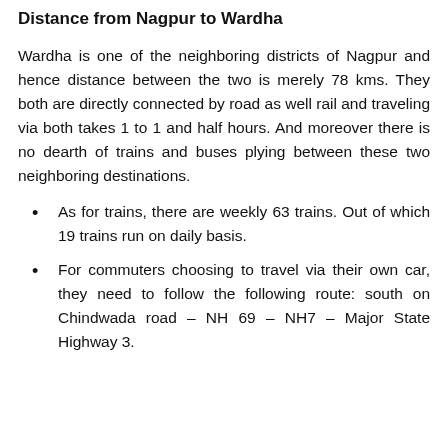Distance from Nagpur to Wardha
Wardha is one of the neighboring districts of Nagpur and hence distance between the two is merely 78 kms. They both are directly connected by road as well rail and traveling via both takes 1 to 1 and half hours. And moreover there is no dearth of trains and buses plying between these two neighboring destinations.
As for trains, there are weekly 63 trains. Out of which 19 trains run on daily basis.
For commuters choosing to travel via their own car, they need to follow the following route: south on Chindwada road – NH 69 – NH7 – Major State Highway 3.